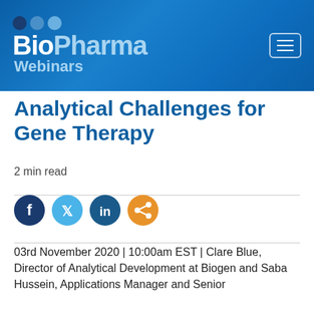BioPharma Webinars
Analytical Challenges for Gene Therapy
2 min read
[Figure (other): Social sharing icons: Facebook (dark blue circle), Twitter (light blue circle), LinkedIn (dark blue circle), Share (orange circle)]
03rd November 2020 | 10:00am EST | Clare Blue, Director of Analytical Development at Biogen and Saba Hussein, Applications Manager and Senior